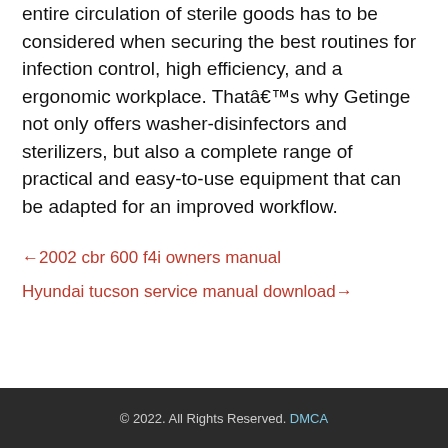entire circulation of sterile goods has to be considered when securing the best routines for infection control, high efficiency, and a ergonomic workplace. Thatâ€™s why Getinge not only offers washer-disinfectors and sterilizers, but also a complete range of practical and easy-to-use equipment that can be adapted for an improved workflow.
← 2002 cbr 600 f4i owners manual
Hyundai tucson service manual download →
© 2022. All Rights Reserved. DMCA